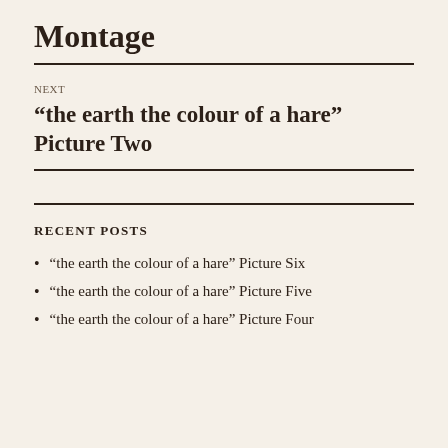Montage
NEXT
“the earth the colour of a hare” Picture Two
RECENT POSTS
“the earth the colour of a hare” Picture Six
“the earth the colour of a hare” Picture Five
“the earth the colour of a hare” Picture Four